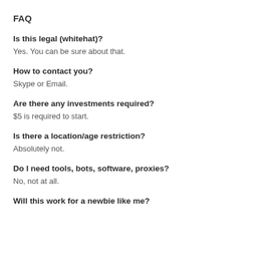FAQ
Is this legal (whitehat)?
Yes. You can be sure about that.
How to contact you?
Skype or Email.
Are there any investments required?
$5 is required to start.
Is there a location/age restriction?
Absolutely not.
Do I need tools, bots, software, proxies?
No, not at all.
Will this work for a newbie like me?